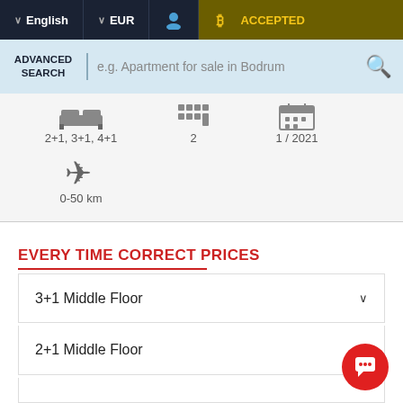English  EUR  ACCEPTED
ADVANCED SEARCH
e.g. Apartment for sale in Bodrum
[Figure (screenshot): Filter icons: room types 2+1, 3+1, 4+1; floor count 2; date 1/2021; airplane 0-50 km]
EVERY TIME CORRECT PRICES
3+1 Middle Floor
2+1 Middle Floor